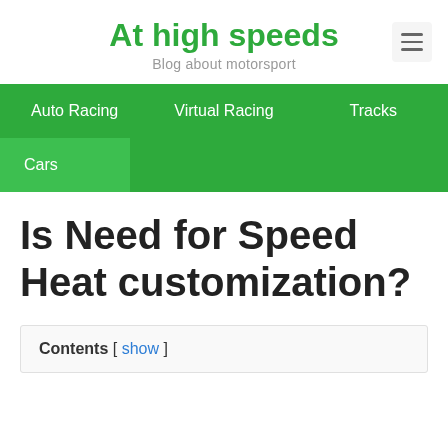At high speeds — Blog about motorsport
Auto Racing   Virtual Racing   Tracks
Cars
Is Need for Speed Heat customization?
Contents [ show ]